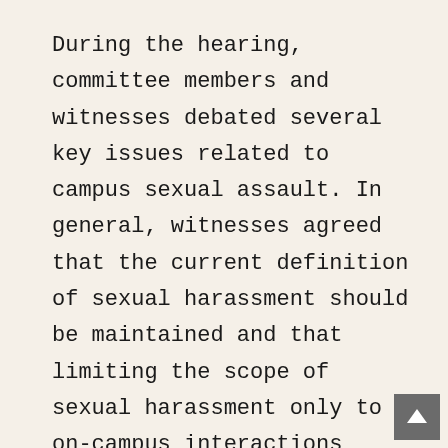During the hearing, committee members and witnesses debated several key issues related to campus sexual assault. In general, witnesses agreed that the current definition of sexual harassment should be maintained and that limiting the scope of sexual harassment only to on-campus interactions would be a disservice to students because of the close relationship between on-campus and off-campus activities. Witnesses also agreed that the same standard of evidence should be applied to sexual harassment as is applied to other types of misconduct and that requiring a clear and convincing